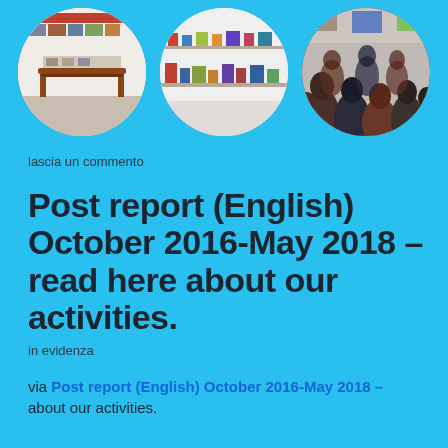[Figure (photo): Three circular cropped photos of an art gallery exhibition: left shows gallery interior with wooden table display, center shows artwork on shelves along a white wall, right shows a crowd of visitors at gallery opening.]
lascia un commento
Post report (English) October 2016-May 2018 – read here about our activities.
in evidenza
via Post report (English) October 2016-May 2018 – about our activities.